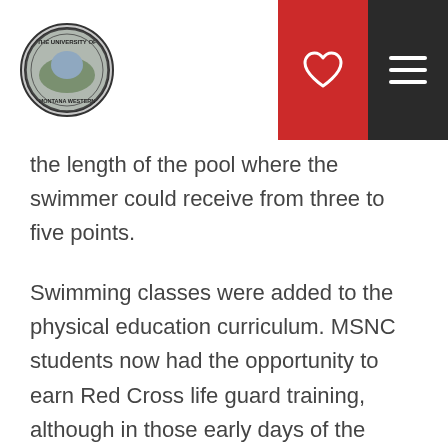University of Montana Western logo, heart icon button, menu button
the length of the pool where the swimmer could receive from three to five points.
Swimming classes were added to the physical education curriculum. MSNC students now had the opportunity to earn Red Cross life guard training, although in those early days of the pool, it was called the Red Cross Life Saving course. The students completing the Red Cross training would serve as life guards and swimming instructors.
The Dillo...